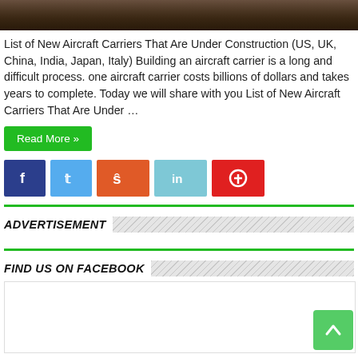[Figure (photo): Dark brownish photo strip at top of page, partial view of image]
List of New Aircraft Carriers That Are Under Construction (US, UK, China, India, Japan, Italy) Building an aircraft carrier is a long and difficult process. one aircraft carrier costs billions of dollars and takes years to complete. Today we will share with you List of New Aircraft Carriers That Are Under …
Read More »
[Figure (infographic): Social media share buttons: Facebook (dark blue), Twitter (light blue), StumbleUpon (orange), LinkedIn (teal), Pinterest (red)]
ADVERTISEMENT
FIND US ON FACEBOOK
[Figure (other): Facebook widget placeholder box]